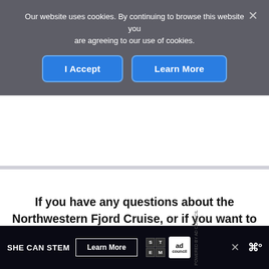Our website uses cookies. By continuing to browse this website you are agreeing to our use of cookies.
If you have any questions about the Northwestern Fjord Cruise, or if you want to share your experience, let us know in the comment section below.
WHERE ARE YOU GOING NEXT?
SHE CAN STEM  Learn More